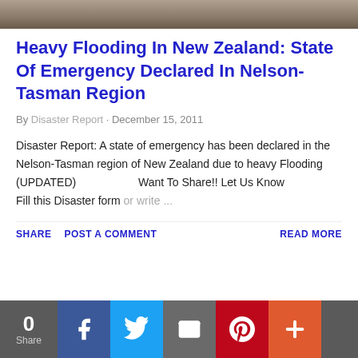[Figure (photo): Top strip showing a flood/disaster photo]
Heavy Flooding In New Zealand: State Of Emergency Declared In Nelson-Tasman Region
By Disaster Report · December 15, 2011
Disaster Report: A state of emergency has been declared in the Nelson-Tasman region of New Zealand due to heavy Flooding (UPDATED)                    Want To Share!! Let Us Know                    Fill this Disaster form or write ...
SHARE   POST A COMMENT   READ MORE